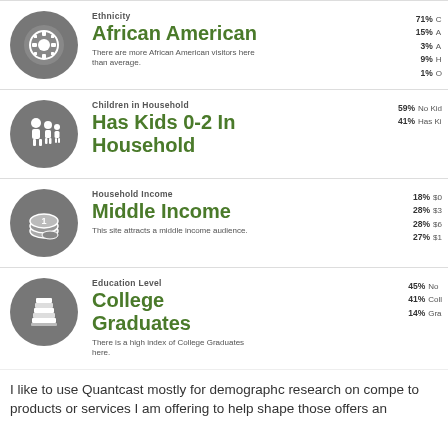Ethnicity
African American
There are more African American visitors here than average.
71% 15% 3% 9% 1%
Children in Household
Has Kids 0-2 In Household
59% No Kids
41% Has Kids
Household Income
Middle Income
This site attracts a middle income audience.
18% $0- 28% $3 28% $6 27% $1
Education Level
College Graduates
There is a high index of College Graduates here.
45% No 41% Coll 14% Gra
I like to use Quantcast mostly for demographc research on compe to products or services I am offering to help shape those offers an